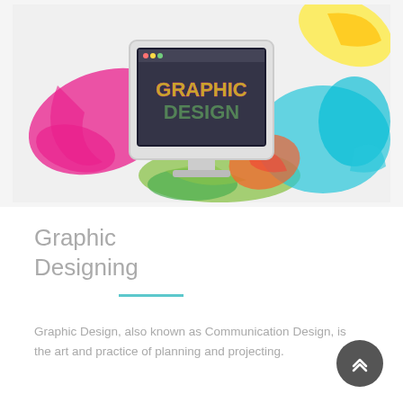[Figure (illustration): Colorful graphic design illustration showing a computer monitor displaying 'GRAPHIC DESIGN' text with colorful paint splashes in pink, green, blue, yellow, and red surrounding it, on a light gray background.]
Graphic Designing
Graphic Design, also known as Communication Design, is the art and practice of planning and projecting.